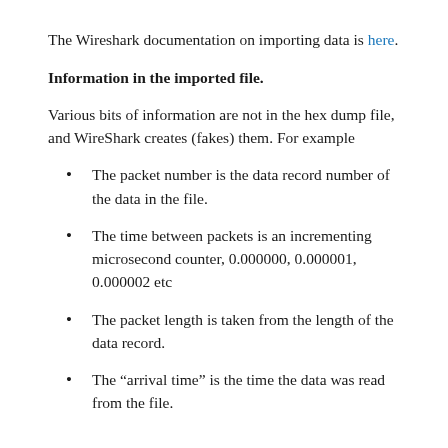The Wireshark documentation on importing data is here.
Information in the imported file.
Various bits of information are not in the hex dump file, and WireShark creates (fakes) them. For example
The packet number is the data record number of the data in the file.
The time between packets is an incrementing microsecond counter, 0.000000, 0.000001, 0.000002 etc
The packet length is taken from the length of the data record.
The “arrival time” is the time the data was read from the file.